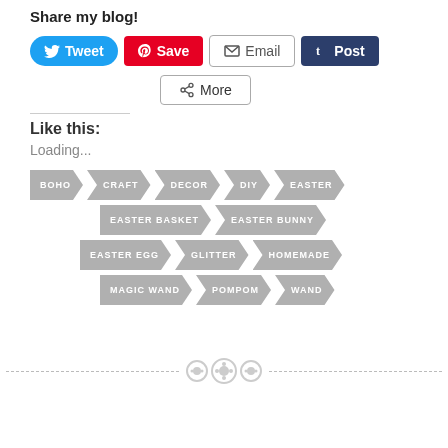Share my blog!
[Figure (screenshot): Social share buttons: Tweet (Twitter/blue), Save (Pinterest/red), Email (grey outline), Post (Tumblr/dark blue), and More button]
Like this:
Loading...
[Figure (infographic): Tag cloud with arrow-shaped grey tags: BOHO, CRAFT, DECOR, DIY, EASTER, EASTER BASKET, EASTER BUNNY, EASTER EGG, GLITTER, HOMEMADE, MAGIC WAND, POMPOM, WAND]
[Figure (illustration): Decorative bottom divider with dashed line and three button/circle icons in the center]